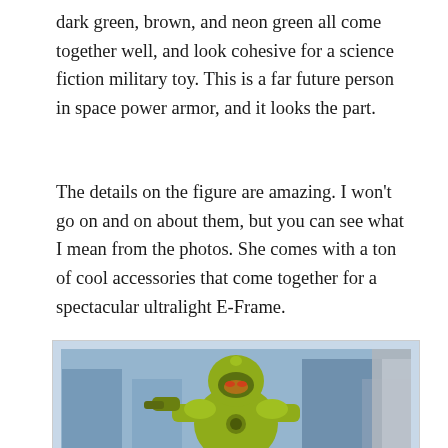dark green, brown, and neon green all come together well, and look cohesive for a science fiction military toy. This is a far future person in space power armor, and it looks the part.
The details on the figure are amazing. I won’t go on and on about them, but you can see what I mean from the photos. She comes with a ton of cool accessories that come together for a spectacular ultralight E-Frame.
[Figure (photo): Close-up photo of a neon/olive green science fiction action figure in power armor (E-Frame exosuit), holding weapons, with a blurred blue futuristic city background.]